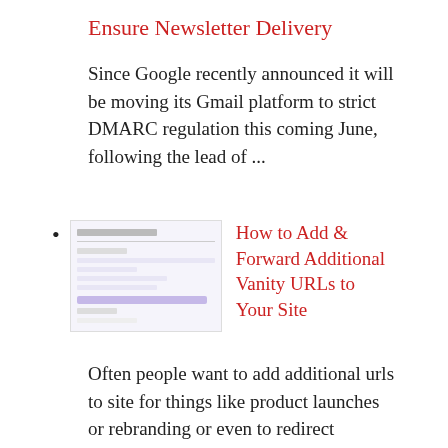Ensure Newsletter Delivery
Since Google recently announced it will be moving its Gmail platform to strict DMARC regulation this coming June, following the lead of ...
How to Add & Forward Additional Vanity URLs to Your Site
[Figure (screenshot): Screenshot of a website settings or configuration page with purple/blue interface elements]
Often people want to add additional urls to site for things like product launches or rebranding or even to redirect frequently misspelled ...